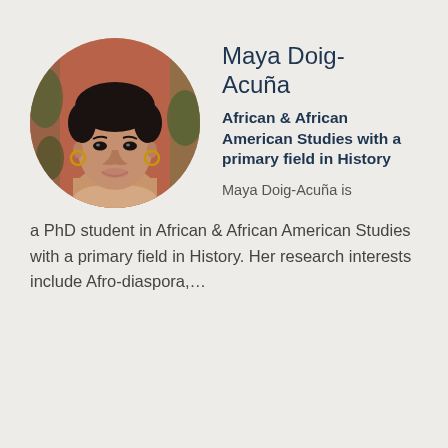[Figure (photo): Circular portrait photo of Maya Doig-Acuña, a young woman with short curly dark hair, smiling, wearing gold hoop earrings, with a warm reddish-brown background with greenery.]
Maya Doig-Acuña
African & African American Studies with a primary field in History
Maya Doig-Acuña is a PhD student in African & African American Studies with a primary field in History. Her research interests include Afro-diaspora,…